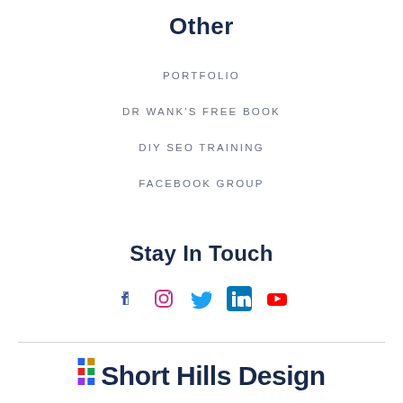Other
PORTFOLIO
DR WANK'S FREE BOOK
DIY SEO TRAINING
FACEBOOK GROUP
Stay In Touch
[Figure (infographic): Social media icons row: Facebook, Instagram, Twitter, LinkedIn, YouTube]
[Figure (logo): Short Hills Design logo with colored squares and text]